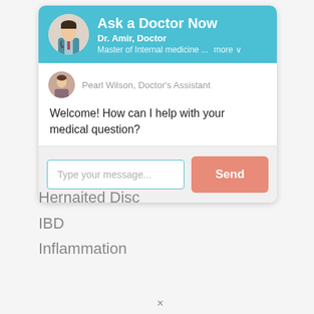Ask a Doctor Now
Dr. Amir, Doctor
Master of Internal medicine ... more
Pearl Wilson, Doctor's Assistant
Welcome! How can I help with your medical question?
Type your message...
Send
Hernaited Disc
IBD
Inflammation